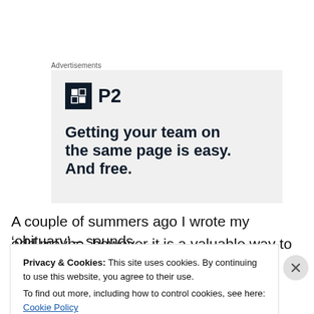Advertisements
[Figure (other): P2 advertisement banner: logo with dark square icon and 'P2' text, headline 'Getting your team on the same page is easy. And free.' on light grey background]
A couple of summers ago I wrote my ‘obituary’ – sounds odd maybe, however it is a valuable way to put yourself
Privacy & Cookies: This site uses cookies. By continuing to use this website, you agree to their use.
To find out more, including how to control cookies, see here: Cookie Policy
Close and accept